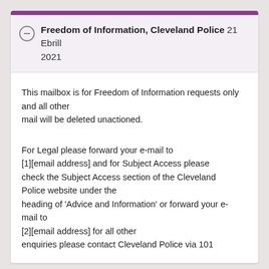Freedom of Information, Cleveland Police 21 Ebrill 2021
This mailbox is for Freedom of Information requests only and all other mail will be deleted unactioned.
For Legal please forward your e-mail to [1][email address] and for Subject Access please check the Subject Access section of the Cleveland Police website under the heading of 'Advice and Information' or forward your e-mail to [2][email address] for all other enquiries please contact Cleveland Police via 101